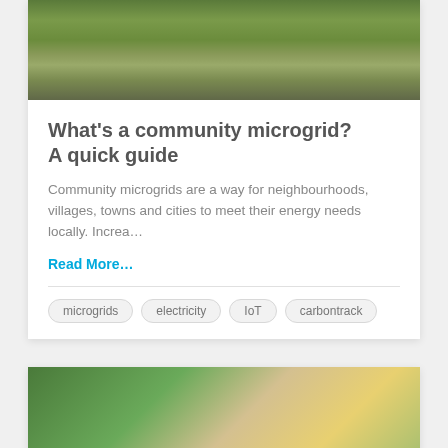[Figure (photo): Nature photo showing tall grass and shrubs with a winding path and residential buildings in the background]
What's a community microgrid? A quick guide
Community microgrids are a way for neighbourhoods, villages, towns and cities to meet their energy needs locally. Increa…
Read More…
microgrids
electricity
IoT
carbontrack
[Figure (photo): Young child laughing outdoors among green trees with '10 Jul' date overlay in white text]